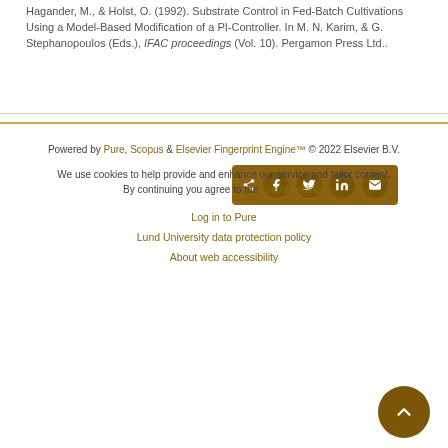Hagander, M., & Holst, O. (1992). Substrate Control in Fed-Batch Cultivations Using a Model-Based Modification of a PI-Controller. In M. N. Karim, & G. Stephanopoulos (Eds.), IFAC proceedings (Vol. 10). Pergamon Press Ltd..
[Figure (other): Social sharing bar with icons for share, Facebook, Twitter, LinkedIn, and email on a dark gold/brown background]
Powered by Pure, Scopus & Elsevier Fingerprint Engine™ © 2022 Elsevier B.V.
We use cookies to help provide and enhance our service and tailor content. By continuing you agree to the use of cookies
Log in to Pure
Lund University data protection policy
About web accessibility